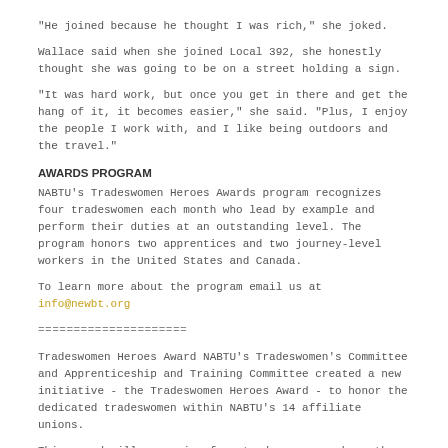“He joined because he thought I was rich,” she joked.
Wallace said when she joined Local 392, she honestly thought she was going to be on a street holding a sign.
“It was hard work, but once you get in there and get the hang of it, it becomes easier,” she said. “Plus, I enjoy the people I work with, and I like being outdoors and the travel.”
AWARDS PROGRAM
NABTU’s Tradeswomen Heroes Awards program recognizes four tradeswomen each month who lead by example and perform their duties at an outstanding level. The program honors two apprentices and two journey-level workers in the United States and Canada.
To learn more about the program email us at info@newbt.org
=====================
Tradeswomen Heroes Award NABTU’s Tradeswomen’s Committee and Apprenticeship and Training Committee created a new initiative - the Tradeswomen Heroes Award - to honor the dedicated tradeswomen within NABTU’s 14 affiliate unions.
This award will recognize four tradeswomen each month - two apprentices and journey-level workers at NABTU’s constituent unions and in media...